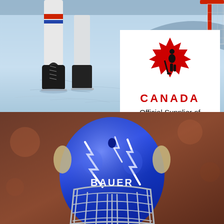[Figure (photo): Top half: hockey player's skates and lower legs on a light blue ice rink surface with skate marks. A goalie net post is visible at top right. The player wears white socks with red and blue stripes.]
[Figure (logo): Hockey Canada logo: a red maple leaf with a black silhouette of a hockey player inside it, followed by the word CANADA in red bold letters and 'Official Supplier of Hockey Canada' text below, on a white background.]
[Figure (photo): Bottom half: close-up of a blue Bauer hockey goalie mask with white lightning bolt designs and silver cage, against a blurred reddish-brown background.]